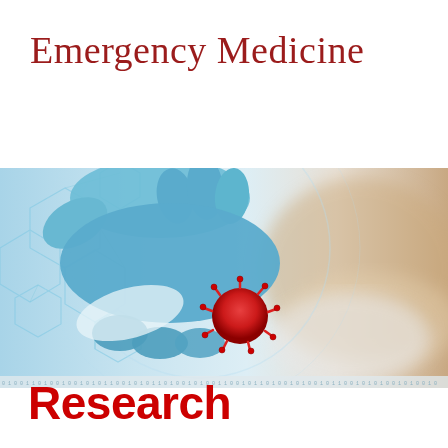Emergency Medicine
[Figure (photo): A gloved hand in blue latex glove holding a red coronavirus/pathogen model sphere, with digital hexagonal network overlay graphics on the left side and a blurred face with mask in the background on the right side.]
Research